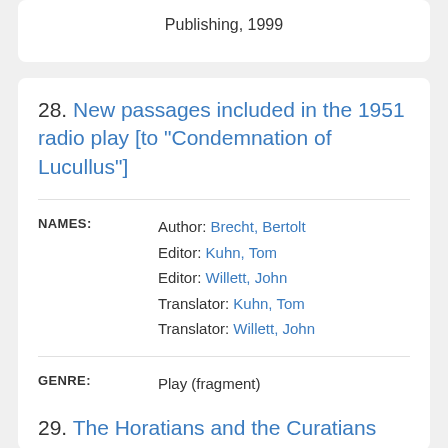Publishing, 1999
28. New passages included in the 1951 radio play [to "Condemnation of Lucullus"]
NAMES: Author: Brecht, Bertolt Editor: Kuhn, Tom Editor: Willett, John Translator: Kuhn, Tom Translator: Willett, John
GENRE: Play (fragment)
29. The Horatians and the Curatians